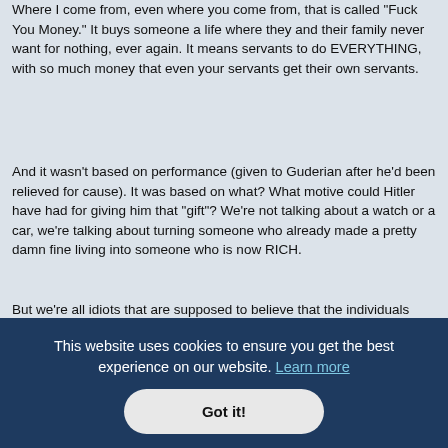Where I come from, even where you come from, that is called "Fuck You Money." It buys someone a life where they and their family never want for nothing, ever again. It means servants to do EVERYTHING, with so much money that even your servants get their own servants.
And it wasn't based on performance (given to Guderian after he'd been relieved for cause). It was based on what? What motive could Hitler have had for giving him that "gift"? We're not talking about a watch or a car, we're talking about turning someone who already made a pretty damn fine living into someone who is now RICH.
But we're all idiots that are supposed to believe that the individuals who carelessly disobeyed previous oaths to C-in-C and constitutions in the past stayed loyal to Hitler because of that oath? Or that they directly committed war crimes or assisted in crimes that were in gross violation of not only existing rules of war that Germany was a signatory of, but also
This website uses cookies to ensure you get the best experience on our website. Learn more
Got it!
Member